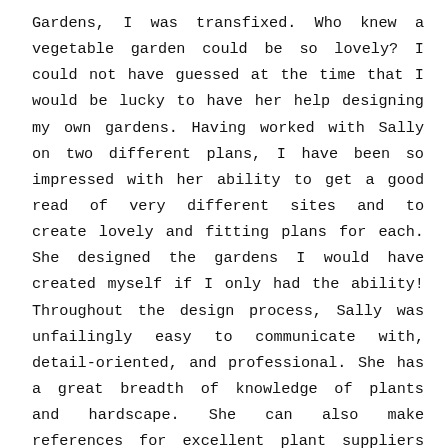Gardens, I was transfixed. Who knew a vegetable garden could be so lovely? I could not have guessed at the time that I would be lucky to have her help designing my own gardens. Having worked with Sally on two different plans, I have been so impressed with her ability to get a good read of very different sites and to create lovely and fitting plans for each. She designed the gardens I would have created myself if I only had the ability! Throughout the design process, Sally was unfailingly easy to communicate with, detail-oriented, and professional. She has a great breadth of knowledge of plants and hardscape. She can also make references for excellent plant suppliers and landscapers to implement the finished plan. It was a joy and privilege to work with Sally, and I recommend her without reservation.